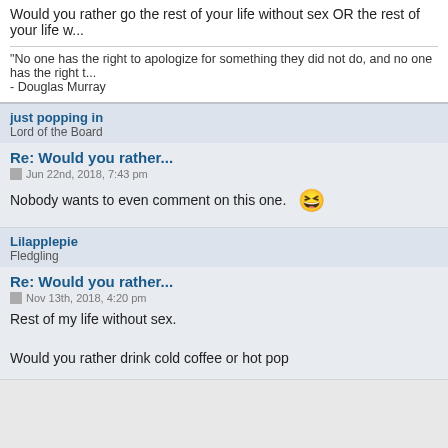Would you rather go the rest of your life without sex OR the rest of your life w...
"No one has the right to apologize for something they did not do, and no one has the right t...
- Douglas Murray
just popping in
Lord of the Board
Re: Would you rather...
Jun 22nd, 2018, 7:43 pm
Nobody wants to even comment on this one.
Lilapplepie
Fledgling
Re: Would you rather...
Nov 13th, 2018, 4:20 pm
Rest of my life without sex.
Would you rather drink cold coffee or hot pop